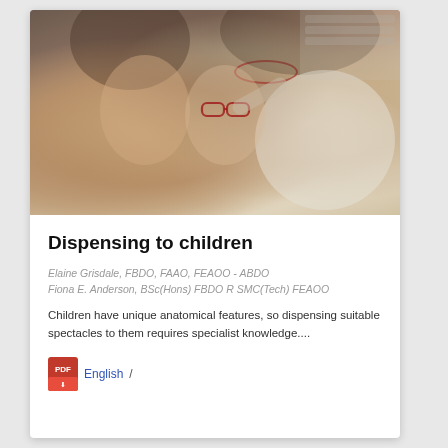[Figure (photo): An optician or dispensing professional fitting glasses on a smiling young girl, with a woman (likely the mother) standing nearby holding glasses, in an optical dispensing setting with frames visible in the background.]
Dispensing to children
Elaine Grisdale, FBDO, FAAO, FEAOO - ABDO
Fiona E. Anderson, BSc(Hons) FBDO R SMC(Tech) FEAOO
Children have unique anatomical features, so dispensing suitable spectacles to them requires specialist knowledge....
English /